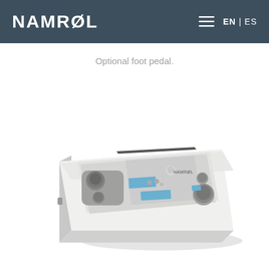NAMRØL  EN | ES
Optional foot pedal.
[Figure (photo): Photo of a white medical foot pedal controller device with multiple knobs and blue accent buttons on the top surface, shot from a slight overhead angle on a white background.]